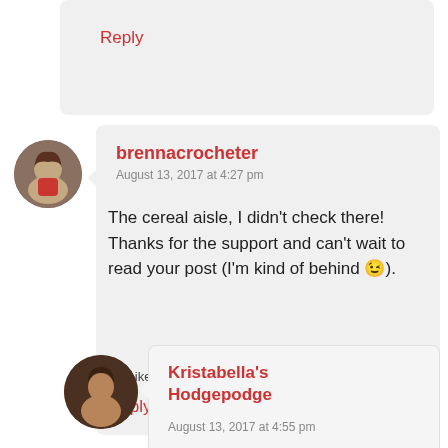Reply
[Figure (photo): Circular avatar photo of a woman wearing a red scarf]
brennacrocheter
August 13, 2017 at 4:27 pm
The cereal aisle, I didn't check there! Thanks for the support and can't wait to read your post (I'm kind of behind 😉).
★ Liked by 1 person
Reply
[Figure (photo): Circular avatar photo of a woman with dark hair]
Kristabella's Hodgepodge
August 13, 2017 at 4:55 pm